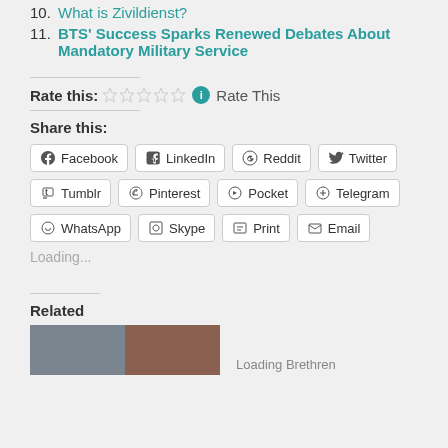10. What is Zivildienst?
11. BTS' Success Sparks Renewed Debates About Mandatory Military Service
Rate this: (stars) Rate This
Share this:
Facebook | LinkedIn | Reddit | Twitter | Tumblr | Pinterest | Pocket | Telegram | WhatsApp | Skype | Print | Email
Loading...
Related
Loading Brethren